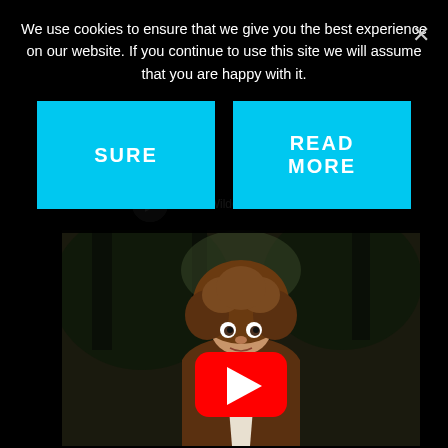We use cookies to ensure that we give you the best experience on our website. If you continue to use this site we will assume that you are happy with it.
[Figure (screenshot): Cookie consent overlay with two cyan buttons labeled SURE and READ MORE, and a close X button in the top right corner. Below is a YouTube video embed showing Gene Wilder in The Little Prince with a red YouTube play button in the center.]